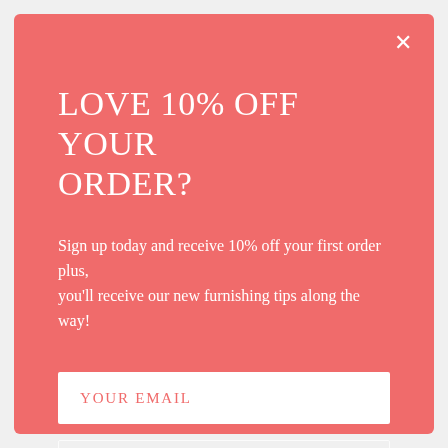LOVE 10% OFF YOUR ORDER?
Sign up today and receive 10% off your first order plus, you'll receive our new furnishing tips along the way!
YOUR EMAIL
YES, PLEASE